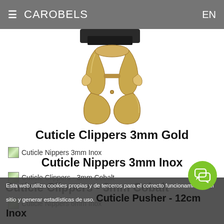≡ CAROBELS   EN
[Figure (photo): Gold cuticle clippers tool on white background, partially showing black pouch at top]
Cuticle Clippers 3mm Gold
Cuticle Nippers 3mm Inox (thumbnail + label)
Cuticle Nippers 3mm Inox (title)
Cuticle Clippers - 3mm Cobalt (thumbnail + label)
Cuticle Clippers - 3mm Cobalt (title)
Cuticle Nippers 6mm Inox (thumbnail + label)
Cuticle Nippers 6mm Inox (title)
Cuticle Pusher - 12cm Inox (thumbnail + label)
Cuticle Pusher - 12cm Inox (title)
Nail Clipper - Large Size
Esta web utiliza cookies propias y de terceros para el correcto funcionamiento del sitio y generar estadísticas de uso.